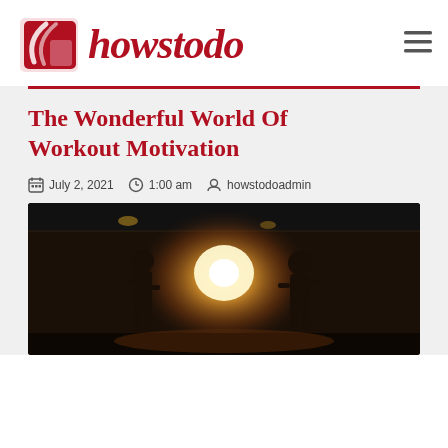[Figure (logo): howstodo website logo with red graphic icon and red italic script text reading 'howstodo']
The Wonderful World Of Workout Motivation
July 2, 2021  1:00 am  howstodoadmin
[Figure (photo): Dark gym interior with two people silhouetted against bright glowing light, overhead industrial lighting visible]